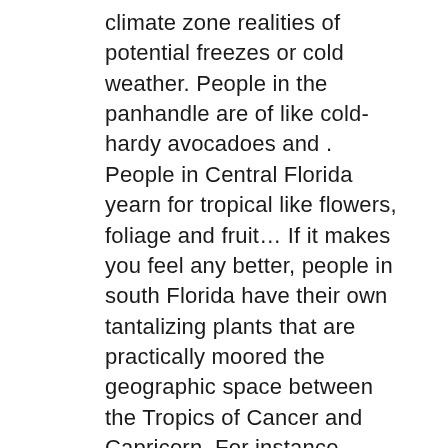climate zone realities of potential freezes or cold weather. People in the panhandle are of like cold-hardy avocadoes and . People in Central Florida yearn for tropical like flowers, foliage and fruit… If it makes you feel any better, people in south Florida have their own tantalizing plants that are practically moored the geographic space between the Tropics of Cancer and Capricorn. For instance, cacao will lose its leaves when temperatures reach the 50's. It seems that human nature always has us yearning for the grass on the other side of fence. The reality is much of central Florida to northern portion of south Florida (i.e., USDA Hardiness Zone 9) can be subject to occasionally damaging frosts – which rules out many tropical